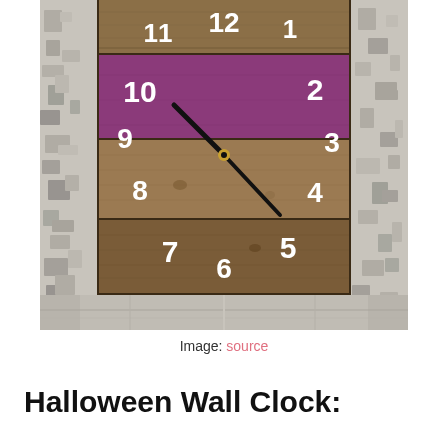[Figure (photo): A rustic handmade wooden wall clock made from horizontal planks of reclaimed wood. The center band is painted purple/plum color. Clock numbers 1-12 are painted in white stencil font on the wood. Clock hands are black metal pointing to approximately 10:10. The clock is photographed against a white distressed/peeling painted wood wall background.]
Image: source
Halloween Wall Clock: